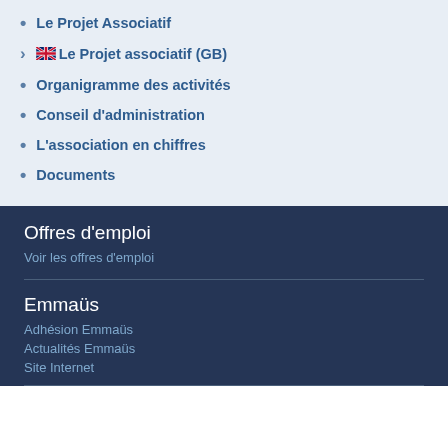Le Projet Associatif
Le Projet associatif (GB)
Organigramme des activités
Conseil d'administration
L'association en chiffres
Documents
Offres d'emploi
Voir les offres d'emploi
Emmaüs
Adhésion Emmaüs
Actualités Emmaüs
Site Internet